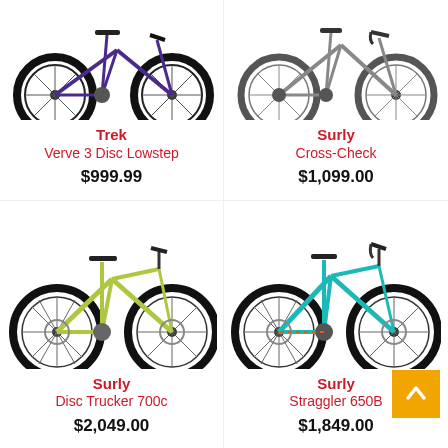[Figure (photo): Trek Verve 3 Disc Lowstep bicycle - purple/dark blue color, partial view showing wheels and frame from top portion]
[Figure (photo): Surly Cross-Check bicycle - grey/silver color, partial view showing wheels and frame from top portion]
Trek
Verve 3 Disc Lowstep
$999.99
Surly
Cross-Check
$1,099.00
[Figure (photo): Surly Disc Trucker 700c bicycle - lime/yellow-green color, full side view]
[Figure (photo): Surly Straggler 650B bicycle - teal/cyan color, full side view]
Surly
Disc Trucker 700c
$2,049.00
Surly
Straggler 650B
$1,849.00